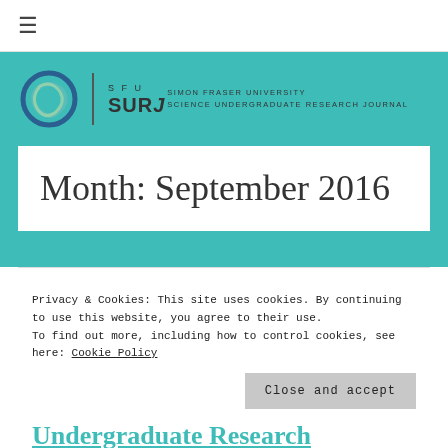≡
[Figure (logo): SFU SURJ logo — Simon Fraser University Science Undergraduate Research Journal logo with circular graphic, SFU SURJ text, and full name]
Month: September 2016
Privacy & Cookies: This site uses cookies. By continuing to use this website, you agree to their use.
To find out more, including how to control cookies, see here: Cookie Policy
Close and accept
Undergraduate Research